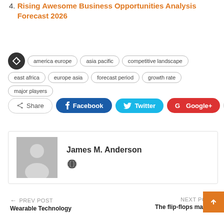4. Rising Awesome Business Opportunities Analysis Forecast 2026
Tags: america europe, asia pacific, competitive landscape, east africa, europe asia, forecast period, growth rate, major players
Share | Facebook | Twitter | Google+ | +
[Figure (photo): Author profile box with avatar placeholder showing silhouette, name James M. Anderson and globe icon]
James M. Anderson
PREV POST - Wearable Technology | NEXT POST - The flip-flops market